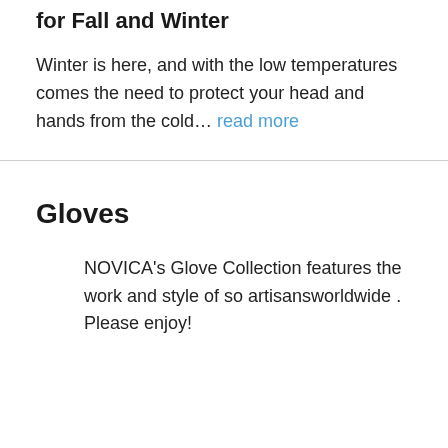for Fall and Winter
Winter is here, and with the low temperatures comes the need to protect your head and hands from the cold… read more
Gloves
NOVICA's Glove Collection features the work and style of so artisansworldwide . Please enjoy!